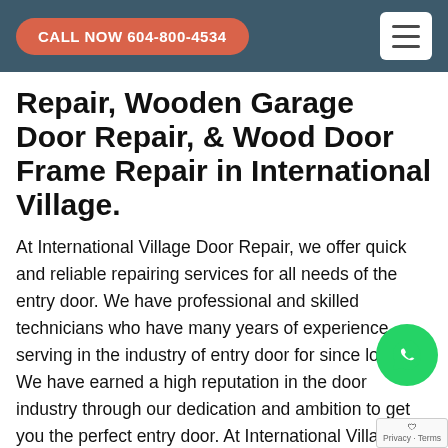CALL NOW 604-800-4534
Repair, Wooden Garage Door Repair, & Wood Door Frame Repair in International Village.
At International Village Door Repair, we offer quick and reliable repairing services for all needs of the entry door. We have professional and skilled technicians who have many years of experience serving in the industry of entry door for since long. We have earned a high reputation in the door industry through our dedication and ambition to get you the perfect entry door. At International Village Door Repair, we value you and your money so we overcome all worries and try our maximum to provide affordable and quality door solutions.